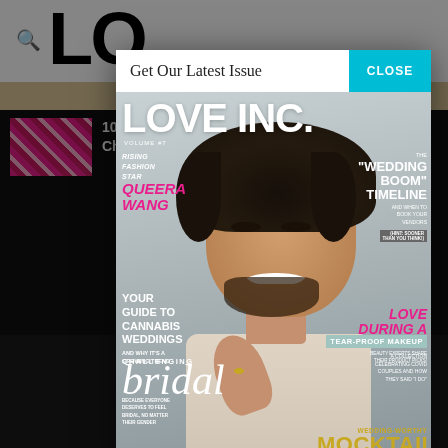[Figure (screenshot): Website screenshot showing Love Inc. magazine website background with large logo letters 'LO' visible, search icon, beige strip, black background area, and thumbnail image of pink floral wedding arrangement with article text '10 H... Cha...']
Get Our Latest Issue
CLOSE
[Figure (photo): Love Inc. magazine cover featuring a laughing Black man with afro hair against a light background. Cover text includes: LOVE INC. magazine title, VOLUME #7, RISING FASHION STAR QUEERA WANG (in pink italic), THE 'WEDDING BOOM' TIMELINE AND WHEN TO BOOK YOUR VENDORS (HINT: SOONER THAN YOU THINK!), YOUR GUIDE TO CANNABIS WEDDINGS AND WHY IT'S A GROWING TREND, LOVE DURING A PANDEMIC A COLLECTION CELEBRATING COVID COUPLES AND HOW THEY SAID 'I DO', TEAR-PROOF MAKEUP BEAUTY EXPERTS SHARE THEIR PRODUCT PICKS!, CHALLENGING bridal BECAUSE EVERYONE DESERVES TO FEEL BRIDAL NO MATTER THEIR GENDER, WEDDING-WORTHY MOCKTAILS]
© 2022 LOVE INC. TRADEMARK ... RESERVED